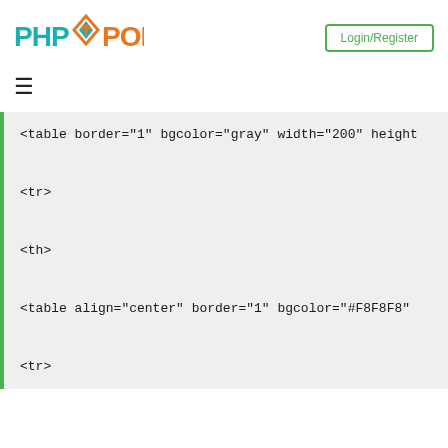[Figure (logo): PHPPoint logo with stylized PHP and diamond icon in teal and orange]
Login/Register
≡
<table border="1" bgcolor="gray" width="200" height

<tr>

<th>

<table align="center" border="1" bgcolor="#F8F8F8"

<tr>